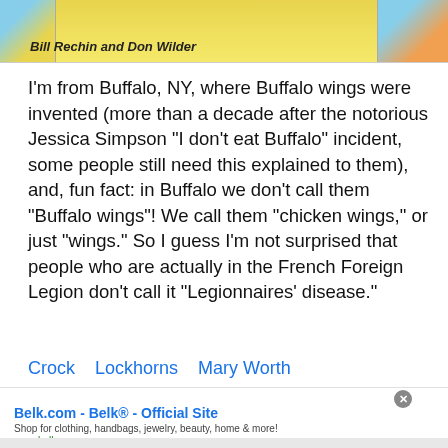[Figure (illustration): Comic strip banner showing characters in a desert/outdoor scene, credited to Bill Rechin and Don Wilder]
I’m from Buffalo, NY, where Buffalo wings were invented (more than a decade after the notorious Jessica Simpson “I don’t eat Buffalo” incident, some people still need this explained to them), and, fun fact: in Buffalo we don’t call them “Buffalo wings”! We call them “chicken wings,” or just “wings.” So I guess I’m not surprised that people who are actually in the French Foreign Legion don’t call it “Legionnaires’ disease.”
Crock   Lockhorns   Mary Worth
Belk.com - Belk® - Official Site
Shop for clothing, handbags, jewelry, beauty, home & more!
www.belk.com